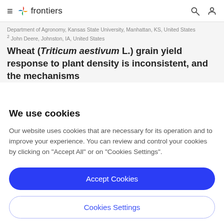frontiers
Department of Agronomy, Kansas State University, Manhattan, KS, United States
2 John Deere, Johnston, IA, United States
Wheat (Triticum aestivum L.) grain yield response to plant density is inconsistent, and the mechanisms
We use cookies
Our website uses cookies that are necessary for its operation and to improve your experience. You can review and control your cookies by clicking on "Accept All" or on "Cookies Settings".
Accept Cookies
Cookies Settings